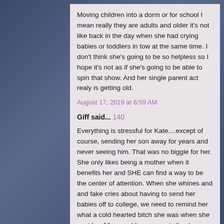Moving children into a dorm or for school I mean really they are adults and older it's not like back in the day when she had crying babies or toddlers in tow at the same time. I don't think she's going to be so helpless so I hope it's not as if she's going to be able to spin that show. And her single parent act realy is getting old.
August 17, 2019 at 6:59 AM
Giff said... 140
Everything is stressful for Kate....except of course, sending her son away for years and never seeing him. That was no biggie for her. She only likes being a mother when it benefits her and SHE can find a way to be the center of attention. When she whines and and fake cries about having to send her babies off to college, we need to remind her what a cold hearted bitch she was when she sent her 11 year old son away to live by himself with strangers. Every vacation he missed and every birthday he missed, became "the best ever." She went on with her life as